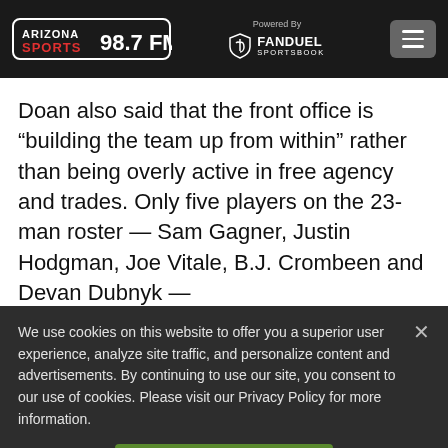Arizona Sports 98.7 FM | Powered By FanDuel Sportsbook
Doan also said that the front office is “building the team up from within” rather than being overly active in free agency and trades. Only five players on the 23-man roster — Sam Gagner, Justin Hodgman, Joe Vitale, B.J. Crombeen and Devan Dubnyk —
We use cookies on this website to offer you a superior user experience, analyze site traffic, and personalize content and advertisements. By continuing to use our site, you consent to our use of cookies. Please visit our Privacy Policy for more information.
Accept Cookies